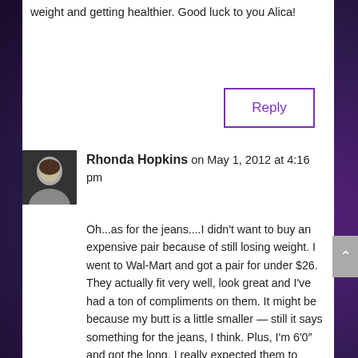weight and getting healthier. Good luck to you Alica!
Reply
Rhonda Hopkins on May 1, 2012 at 4:16 pm
Oh...as for the jeans....I didn't want to buy an expensive pair because of still losing weight. I went to Wal-Mart and got a pair for under $26. They actually fit very well, look great and I've had a ton of compliments on them. It might be because my butt is a little smaller — still it says something for the jeans, I think. Plus, I'm 6'0″ and got the long. I really expected them to shrink in the washer and dryer...but they didn't. I'm so pleasantly surprised by my